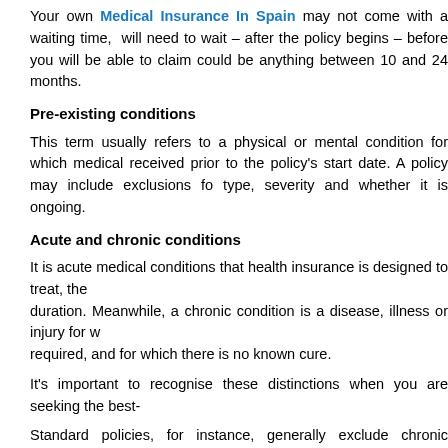Your own Medical Insurance In Spain may not come with a waiting time, will need to wait – after the policy begins – before you will be able to claim could be anything between 10 and 24 months.
Pre-existing conditions
This term usually refers to a physical or mental condition for which medical received prior to the policy's start date. A policy may include exclusions fo type, severity and whether it is ongoing.
Acute and chronic conditions
It is acute medical conditions that health insurance is designed to treat, the duration. Meanwhile, a chronic condition is a disease, illness or injury for w required, and for which there is no known cure.
It's important to recognise these distinctions when you are seeking the best-
Standard policies, for instance, generally exclude chronic conditions once t will cover all of the investigations and tests up to the diagnosis, as well as but not long-term treatment. However, it's normal for the insurer to pay for f condition, until the condition is stabilised again.
The wide range of both standard and comprehensive plans
You've got a generous breadth of options for medical insurance in Spain w work with a variety of insurers such as ALC Healthcare, AXA PPP, Caser